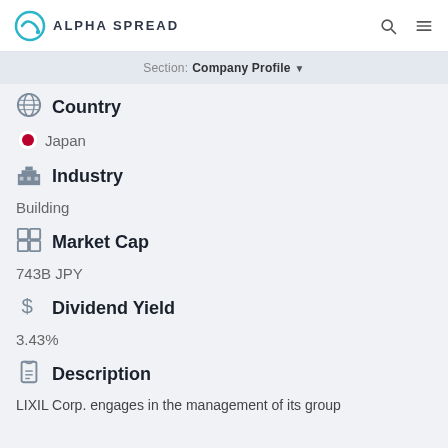ALPHA SPREAD
Section: Company Profile
Country
Japan
Industry
Building
Market Cap
743B JPY
Dividend Yield
3.43%
Description
LIXIL Corp. engages in the management of its group